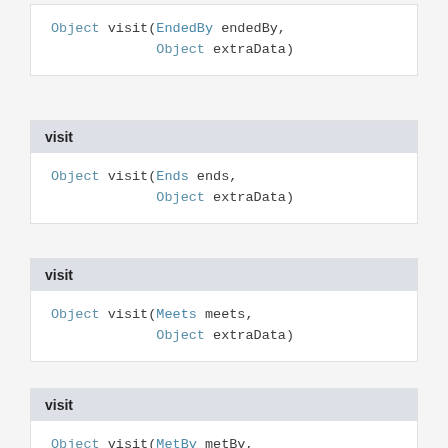Object visit(EndedBy endedBy,
             Object extraData)
visit
Object visit(Ends ends,
             Object extraData)
visit
Object visit(Meets meets,
             Object extraData)
visit
Object visit(MetBy metBy,
             Object extraData)